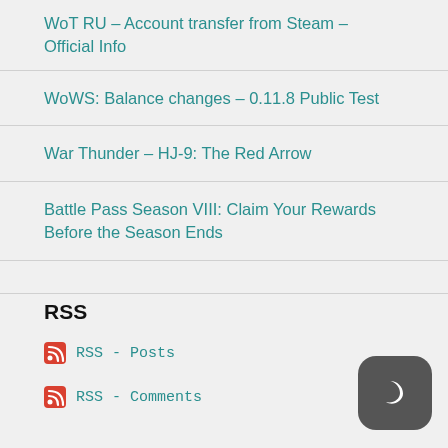WoT RU – Account transfer from Steam – Official Info
WoWS: Balance changes – 0.11.8 Public Test
War Thunder – HJ-9: The Red Arrow
Battle Pass Season VIII: Claim Your Rewards Before the Season Ends
RSS
RSS - Posts
RSS - Comments
[Figure (illustration): Dark mode toggle button with crescent moon icon on a dark gray rounded square background]